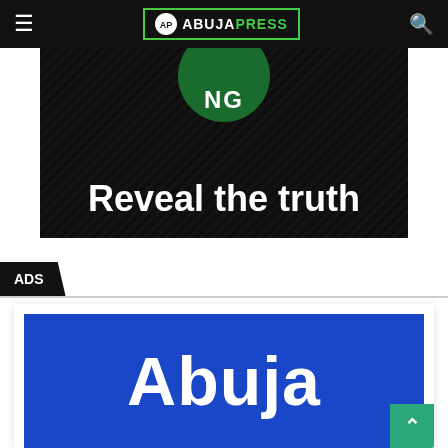ABUJAPRESS
[Figure (illustration): Dark background image with a green circle showing 'NG' text and bold white text reading 'Reveal the truth']
ADS
[Figure (illustration): Blue advertisement banner with large white bold text reading 'Abuja']